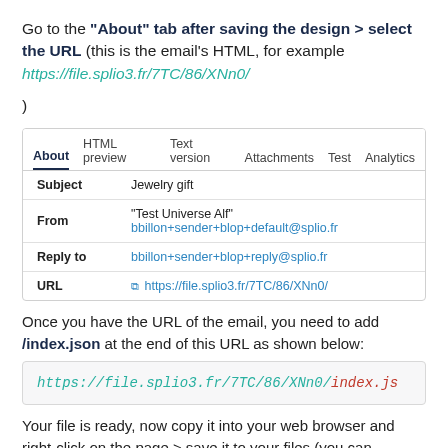Go to the "About" tab after saving the design > select the URL (this is the email's HTML, for example https://file.splio3.fr/7TC/86/XNn0/)
[Figure (screenshot): Screenshot of a UI showing tabs: About (active), HTML preview, Text version, Attachments, Test, Analytics. A table below shows Subject: Jewelry gift; From: "Test Universe Alf" bbillon+sender+blop+default@splio.fr; Reply to: bbillon+sender+blop+reply@splio.fr; URL: https://file.splio3.fr/7TC/86/XNn0/]
Once you have the URL of the email, you need to add /index.json at the end of this URL as shown below:
https://file.splio3.fr/7TC/86/XNn0/index.js
Your file is ready, now copy it into your web browser and right-click on the page > save it to your files (you can